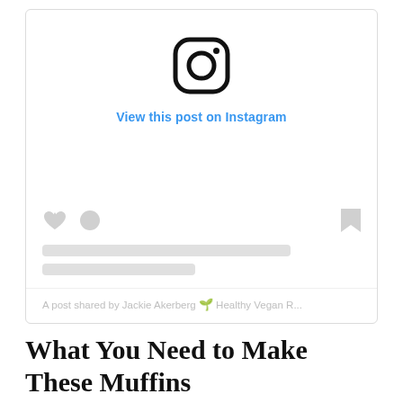[Figure (screenshot): Instagram embed placeholder showing the Instagram logo icon, a 'View this post on Instagram' link in blue, like/comment/bookmark action icons, two gray placeholder bars for text, and a caption 'A post shared by Jackie Akerberg 🌱 Healthy Vegan R...']
What You Need to Make These Muffins